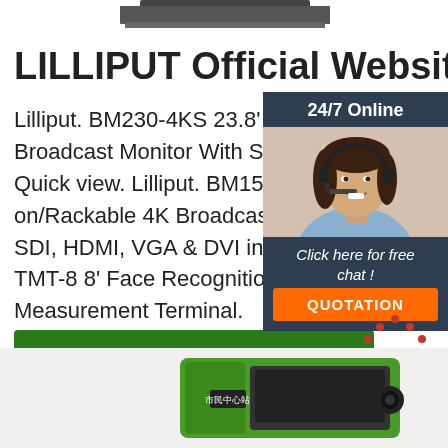[Figure (photo): Partial top view of a product (monitor/device), cut off at the top of the page]
LILLIPUT Official Website
Lilliput. BM230-4KS 23.8' 4K HDMI Carry-on Broadcast Monitor With SDI, HDR And 3... Quick view. Lilliput. BM150-4KS 15.6' Carry-on/Rackable 4K Broadcast Director Monitor with SDI, HDMI, VGA & DVI inputs. Quick view. TMT-8 8' Face Recognition & Temperature Measurement Terminal.
[Figure (photo): Customer service representative widget with '24/7 Online' header, photo of woman with headset, 'Click here for free chat!' text, and orange QUOTATION button]
[Figure (illustration): Red/orange 'TOP' badge with dots arranged in triangle above text]
[Figure (photo): Bottom portion of a green device (likely TMT-8 Face Recognition Terminal) with Chinese text on display, partially visible]
Get Price